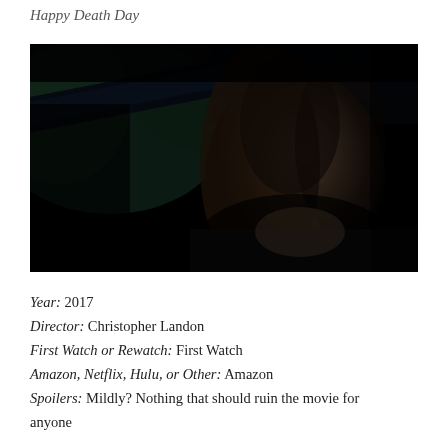Happy Death Day
[Figure (photo): Dark movie still from Happy Death Day showing a woman with long hair, mouth open, in distress, with a dark bat or weapon visible in the foreground and dark greenery in background]
Year: 2017
Director: Christopher Landon
First Watch or Rewatch: First Watch
Amazon, Netflix, Hulu, or Other: Amazon
Spoilers: Mildly? Nothing that should ruin the movie for anyone